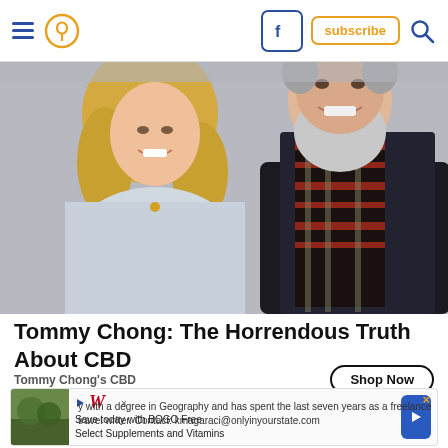Navigation header with hamburger menu, location pin icon, Facebook icon, subscribe button, and search icon
[Figure (photo): Close-up photo of a blonde woman smiling on the left and an older man with a white beard in a black jacket and red plaid shirt/tie on the right]
Tommy Chong: The Horrendous Truth About CBD
Tommy Chong's CBD
Shop Now
[Figure (screenshot): Walgreens advertisement banner: Save today with BOGO Free Select Supplements and Vitamins]
y with a degree in Geography and has spent the last seven years as a freelance travel writer. Contact: kmagaraci@onlyinyourstate.com